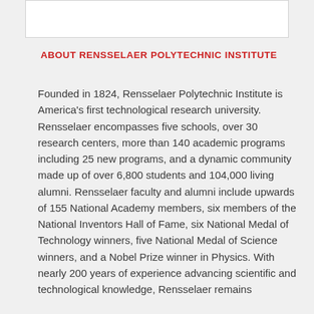ABOUT RENSSELAER POLYTECHNIC INSTITUTE
Founded in 1824, Rensselaer Polytechnic Institute is America's first technological research university. Rensselaer encompasses five schools, over 30 research centers, more than 140 academic programs including 25 new programs, and a dynamic community made up of over 6,800 students and 104,000 living alumni. Rensselaer faculty and alumni include upwards of 155 National Academy members, six members of the National Inventors Hall of Fame, six National Medal of Technology winners, five National Medal of Science winners, and a Nobel Prize winner in Physics. With nearly 200 years of experience advancing scientific and technological knowledge, Rensselaer remains